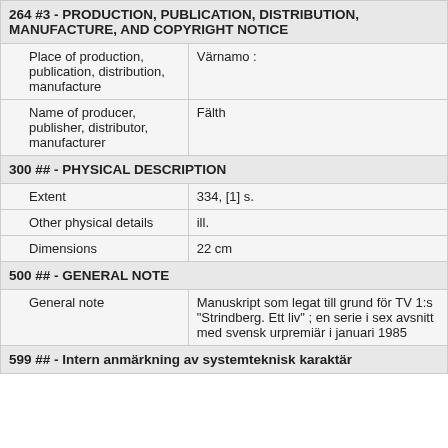264 #3 - PRODUCTION, PUBLICATION, DISTRIBUTION, MANUFACTURE, AND COPYRIGHT NOTICE
| Place of production, publication, distribution, manufacture | Värnamo : |
| Name of producer, publisher, distributor, manufacturer | Fälth |
300 ## - PHYSICAL DESCRIPTION
| Extent | 334, [1] s. |
| Other physical details | ill. |
| Dimensions | 22 cm |
500 ## - GENERAL NOTE
| General note | Manuskript som legat till grund för TV 1:s "Strindberg. Ett liv" ; en serie i sex avsnitt med svensk urpremiär i januari 1985 |
599 ## - Intern anmärkning av systemteknisk karaktär